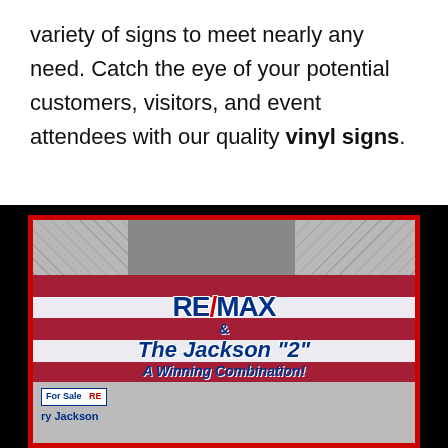variety of signs to meet nearly any need. Catch the eye of your potential customers, visitors, and event attendees with our quality vinyl signs.
[Figure (photo): Photo of a large RE/MAX vinyl banner displayed at a trade show or event booth. The banner features an American flag background with red, white and blue colors. Text on the banner reads: RE/MAX & The Jackson "2" A Winning Combination! "We're not #1, YOU are!" along with email addresses and '12 Million Closed Sales in 2007'. Photo collages are displayed on the sides. A 'For Sale' sign and 'ry Jackson' text are visible at the bottom.]